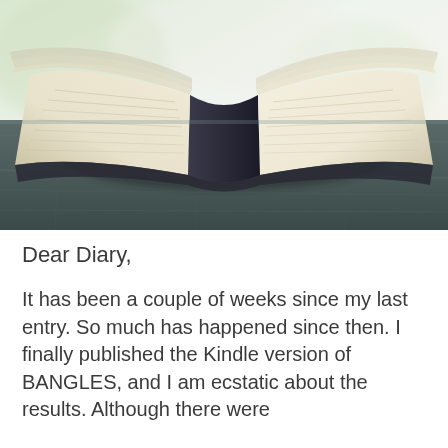[Figure (photo): An open book lying flat on a wooden table, photographed in soft natural light with a blurred background of greens and whites. The book pages fan outward showing cream-colored pages.]
Dear Diary,
It has been a couple of weeks since my last entry. So much has happened since then. I finally published the Kindle version of BANGLES, and I am ecstatic about the results. Although there were